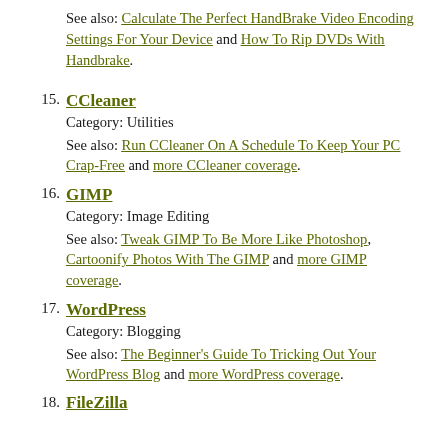See also: Calculate The Perfect HandBrake Video Encoding Settings For Your Device and How To Rip DVDs With Handbrake.
15. CCleaner
Category: Utilities
See also: Run CCleaner On A Schedule To Keep Your PC Crap-Free and more CCleaner coverage.
16. GIMP
Category: Image Editing
See also: Tweak GIMP To Be More Like Photoshop, Cartoonify Photos With The GIMP and more GIMP coverage.
17. WordPress
Category: Blogging
See also: The Beginner's Guide To Tricking Out Your WordPress Blog and more WordPress coverage.
18. FileZilla